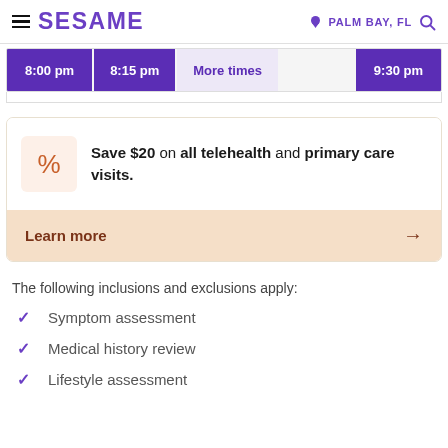SESAME | PALM BAY, FL
[Figure (screenshot): Time slot buttons showing 8:00 pm, 8:15 pm, More times, 9:30 pm]
Save $20 on all telehealth and primary care visits.
Learn more →
The following inclusions and exclusions apply:
Symptom assessment
Medical history review
Lifestyle assessment